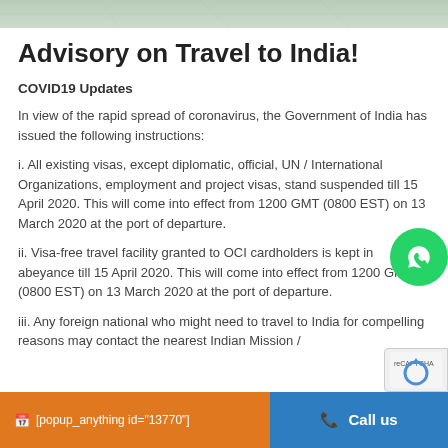[Figure (photo): Top banner image showing a map or travel-related background]
Advisory on Travel to India!
COVID19 Updates
In view of the rapid spread of coronavirus, the Government of India has issued the following instructions:
i. All existing visas, except diplomatic, official, UN / International Organizations, employment and project visas, stand suspended till 15 April 2020. This will come into effect from 1200 GMT (0800 EST) on 13 March 2020 at the port of departure.
ii. Visa-free travel facility granted to OCI cardholders is kept in abeyance till 15 April 2020. This will come into effect from 1200 GMT (0800 EST) on 13 March 2020 at the port of departure.
iii. Any foreign national who might need to travel to India for compelling reasons may contact the nearest Indian Mission /
[popup_anything id="13770"]    Call us